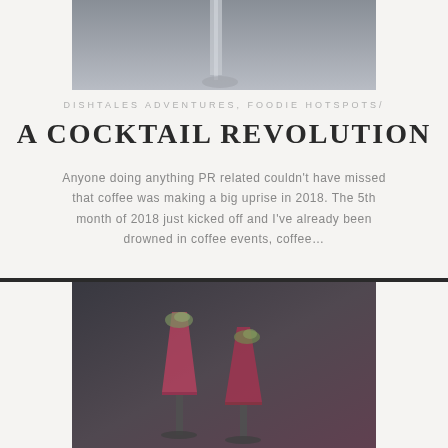[Figure (photo): Top portion of a photo showing liquid being poured into a glass, dark background, grayscale/muted tones]
DISHTALES ADVENTURES, FOODIE HOTSPOTS/
A COCKTAIL REVOLUTION
Anyone doing anything PR related couldn't have missed that coffee was making a big uprise in 2018. The 5th month of 2018 just kicked off and I've already been drowned in coffee events, coffee…
[Figure (photo): Two red cocktails in champagne flute glasses garnished with cucumber/lime slices, dark moody background]